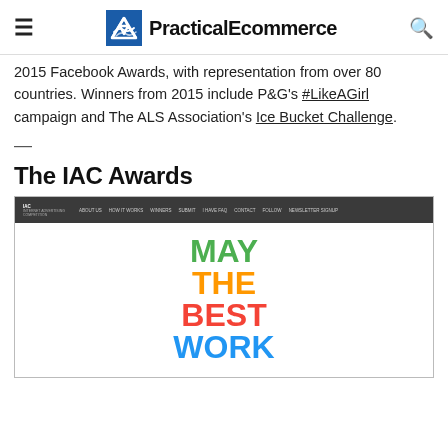PracticalEcommerce
2015 Facebook Awards, with representation from over 80 countries. Winners from 2015 include P&G's #LikeAGirl campaign and The ALS Association's Ice Bucket Challenge.
—
The IAC Awards
[Figure (screenshot): Screenshot of the IAC (Internet Advertising Competition) Awards website showing colorful stacked text reading 'MAY THE BEST WORK WIN' on a white background with a dark navigation bar at top.]